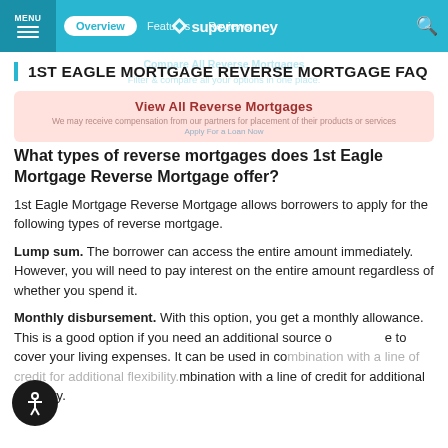MENU | Overview | Features | Reviews | supermoney
1ST EAGLE MORTGAGE REVERSE MORTGAGE FAQ
What types of reverse mortgages does 1st Eagle Mortgage Reverse Mortgage offer?
1st Eagle Mortgage Reverse Mortgage allows borrowers to apply for the following types of reverse mortgage.
Lump sum. The borrower can access the entire amount immediately. However, you will need to pay interest on the entire amount regardless of whether you spend it.
Monthly disbursement. With this option, you get a monthly allowance. This is a good option if you need an additional source of income to cover your living expenses. It can be used in combination with a line of credit for additional flexibility.